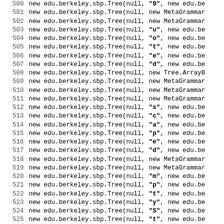Code listing lines 500-531 showing Java new edu.berkeley.sbp.Tree(null, ...) statements